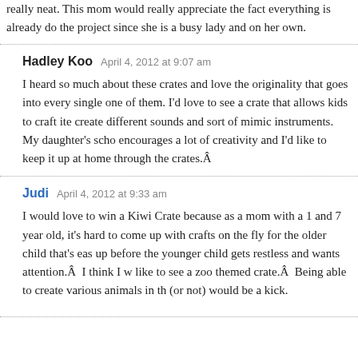really neat. This mom would really appreciate the fact everything is already do the project since she is a busy lady and on her own.
Hadley Koo   April 4, 2012 at 9:07 am

I heard so much about these crates and love the originality that goes into every single one of them. I'd love to see a crate that allows kids to craft items, create different sounds and sort of mimic instruments. My daughter's school encourages a lot of creativity and I'd like to keep it up at home through the crates.Â
Judi   April 4, 2012 at 9:33 am

I would love to win a Kiwi Crate because as a mom with a 1 and 7 year old, it's hard to come up with crafts on the fly for the older child that's easy up before the younger child gets restless and wants attention.Â  I think I would like to see a zoo themed crate.Â  Being able to create various animals in the (or not) would be a kick.